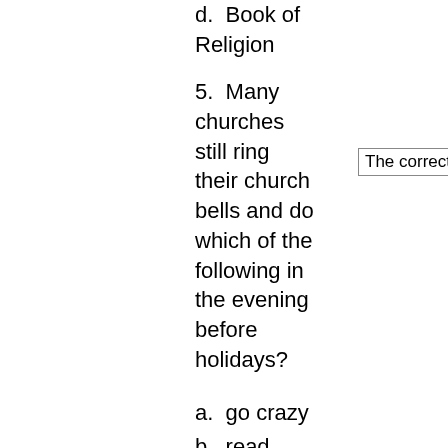d.  Book of Religion
5.  Many churches still ring their church bells and do which of the following in the evening before holidays?
The correct answer is ......
a.  go crazy
b.  read books
c.  hold prayers